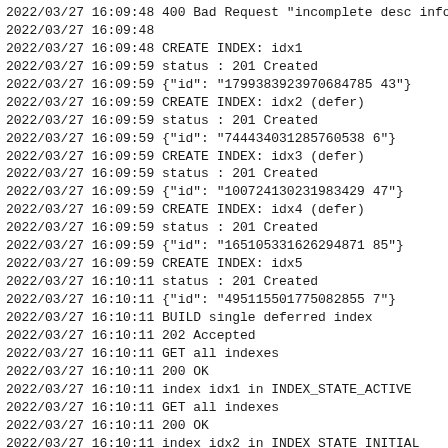2022/03/27 16:09:48 400 Bad Request "incomplete desc info
2022/03/27 16:09:48
2022/03/27 16:09:48 CREATE INDEX: idx1
2022/03/27 16:09:59 status : 201 Created
2022/03/27 16:09:59 {"id": "1799383923970684785 43"}
2022/03/27 16:09:59 CREATE INDEX: idx2 (defer)
2022/03/27 16:09:59 status : 201 Created
2022/03/27 16:09:59 {"id": "744434031285760538 6"}
2022/03/27 16:09:59 CREATE INDEX: idx3 (defer)
2022/03/27 16:09:59 status : 201 Created
2022/03/27 16:09:59 {"id": "100724130231983429 47"}
2022/03/27 16:09:59 CREATE INDEX: idx4 (defer)
2022/03/27 16:09:59 status : 201 Created
2022/03/27 16:09:59 {"id": "165105331626294871 85"}
2022/03/27 16:09:59 CREATE INDEX: idx5
2022/03/27 16:10:11 status : 201 Created
2022/03/27 16:10:11 {"id": "495115501775082855 7"}
2022/03/27 16:10:11 BUILD single deferred index
2022/03/27 16:10:11 202 Accepted
2022/03/27 16:10:11 GET all indexes
2022/03/27 16:10:11 200 OK
2022/03/27 16:10:11 index idx1 in INDEX_STATE_ACTIVE
2022/03/27 16:10:11 GET all indexes
2022/03/27 16:10:11 200 OK
2022/03/27 16:10:11 index idx2 in INDEX_STATE_INITIAL
2022/03/27 16:10:12 GET all indexes
2022/03/27 16:10:12 200 OK
2022/03/27 16:10:12 index idx2 in INDEX_STATE_INITIAL
2022/03/27 16:10:14 GET all indexes
2022/03/27 16:10:14 200 OK